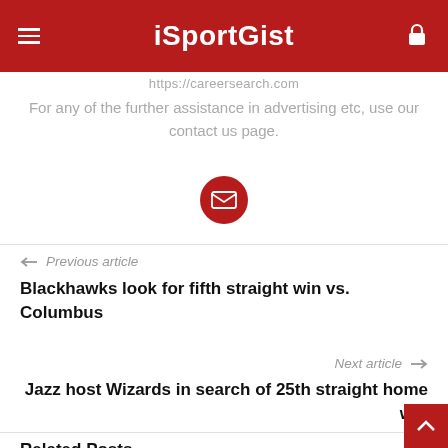iSportGist
https://careersearch.com
For any of the further assistance in advertising etc, use our contact us page.
[Figure (illustration): Red circular email button icon]
← Previous article
Blackhawks look for fifth straight win vs. Columbus
Next article →
Jazz host Wizards in search of 25th straight home win
Related Posts
[Figure (photo): Sports image at bottom of page]